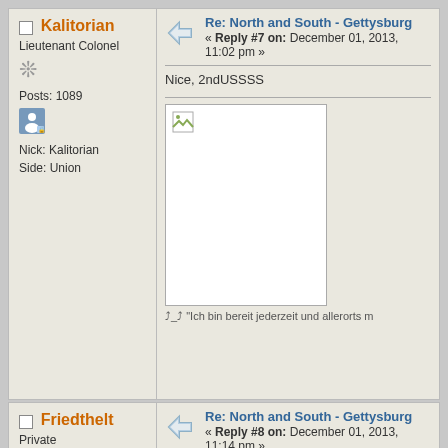Kalitorian
Lieutenant Colonel
Posts: 1089
Nick: Kalitorian
Side: Union
Re: North and South - Gettysburg
« Reply #7 on: December 01, 2013, 11:02 pm »
Nice, 2ndUSSSS
[Figure (photo): Broken image placeholder]
"Ich bin bereit jederzeit und allerorts m
Friedthelt
Private
Posts: 24
Re: North and South - Gettysburg
« Reply #8 on: December 01, 2013, 11:14 pm »
Nice! Really curious about the maps
Hopefully this mod will last longer than the